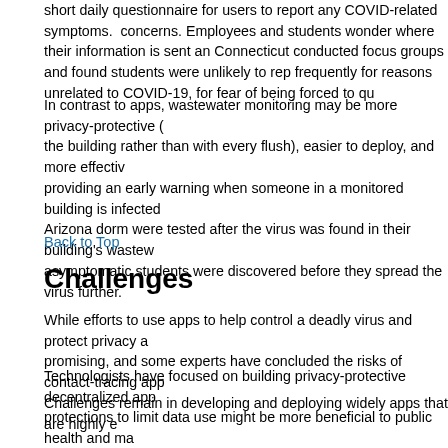short daily questionnaire for users to report any COVID-related symptoms. concerns. Employees and students wonder where their information is sent a Connecticut conducted focus groups and found students were unlikely to rep frequently for reasons unrelated to COVID-19, for fear of being forced to qu
In contrast to apps, wastewater monitoring may be more privacy-protective the building rather than with every flush), easier to deploy, and more effecti providing an early warning when someone in a monitored building is infecte Arizona dorm were tested after the virus was found in their building's waste asymptomatic students were discovered before they spread the virus further.
Back to Top
Challenges
While efforts to use apps to help control a deadly virus and protect privacy a promising, and some experts have concluded the risks of contact-tracing app Challenges remain in developing and deploying widely apps that are highly e
Technologists have focused on building privacy-protective decentralized app protections to limit data use might be more beneficial to public health and m public. The problem these apps are trying to solve is not just a technology pr unlikely to be the solution. As with many privacy problems, solutions shoul and organizational policies must ensure sensitive information is not used fo